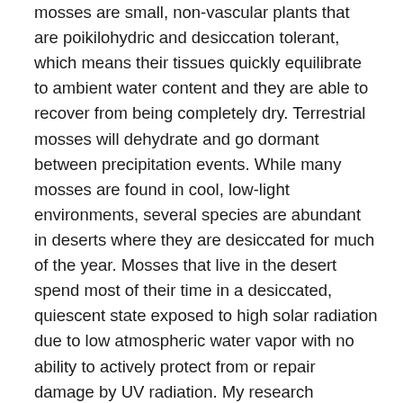mosses are small, non-vascular plants that are poikilohydric and desiccation tolerant, which means their tissues quickly equilibrate to ambient water content and they are able to recover from being completely dry. Terrestrial mosses will dehydrate and go dormant between precipitation events. While many mosses are found in cool, low-light environments, several species are abundant in deserts where they are desiccated for much of the year. Mosses that live in the desert spend most of their time in a desiccated, quiescent state exposed to high solar radiation due to low atmospheric water vapor with no ability to actively protect from or repair damage by UV radiation. My research investigates UV protection mechanisms used by two Mojave Desert mosses S. ruralis and S. caninervis and will contribute to understanding how these plants tolerate high levels of UV radiation while desiccated as well as the evolutionary history of UV tolerance in land plants.